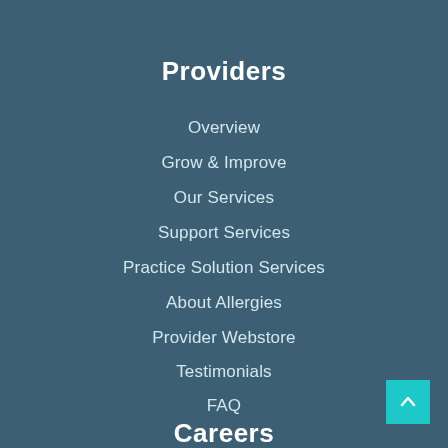Providers
Overview
Grow & Improve
Our Services
Support Services
Practice Solution Services
About Allergies
Provider Webstore
Testimonials
FAQ
Careers